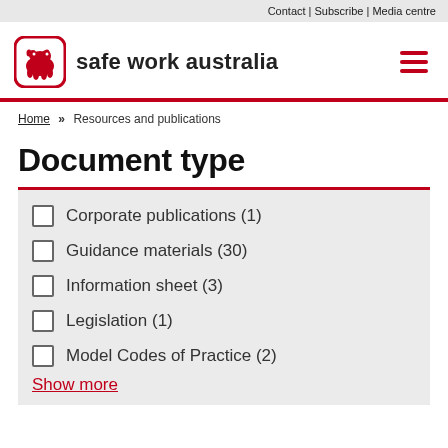Contact | Subscribe | Media centre
[Figure (logo): Safe Work Australia logo with wombat icon in red rounded square, followed by bold text 'safe work australia']
Document type
Home » Resources and publications
Corporate publications (1)
Guidance materials (30)
Information sheet (3)
Legislation (1)
Model Codes of Practice (2)
Show more